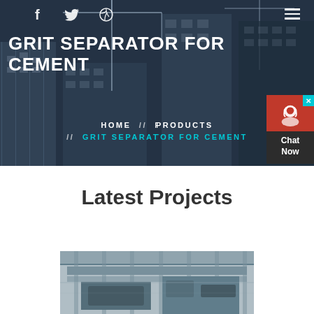[Figure (photo): Hero banner with dark overlay showing construction site with cranes and buildings under construction at dusk/night]
GRIT SEPARATOR FOR CEMENT
HOME // PRODUCTS // GRIT SEPARATOR FOR CEMENT
Latest Projects
[Figure (photo): Industrial machinery or grit separator equipment installed in a cement plant facility]